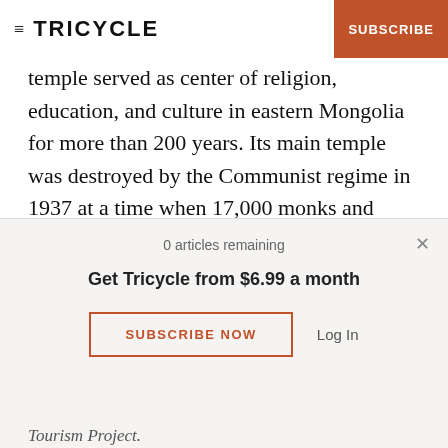TRICYCLE | SUBSCRIBE
temple served as center of religion, education, and culture in eastern Mongolia for more than 200 years. Its main temple was destroyed by the Communist regime in 1937 at a time when 17,000 monks and nuns from throughout Mongolia were sent to work camps in Siberia.
[Figure (photo): Two black and white historical photographs side by side: left shows temple buildings with traditional rooflines, right shows a rocky hillside with trees.]
0 articles remaining
Get Tricycle from $6.99 a month
SUBSCRIBE NOW
Log In
Tourism Project.